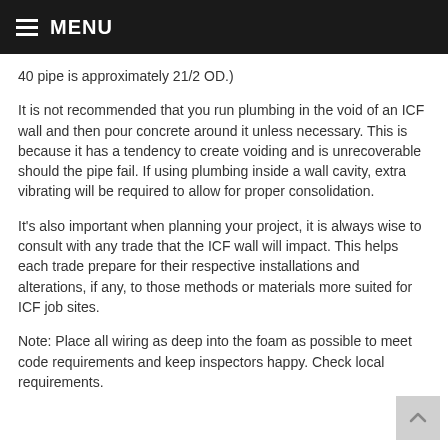MENU
40 pipe is approximately 21/2 OD.)
It is not recommended that you run plumbing in the void of an ICF wall and then pour concrete around it unless necessary. This is because it has a tendency to create voiding and is unrecoverable should the pipe fail. If using plumbing inside a wall cavity, extra vibrating will be required to allow for proper consolidation.
It's also important when planning your project, it is always wise to consult with any trade that the ICF wall will impact. This helps each trade prepare for their respective installations and alterations, if any, to those methods or materials more suited for ICF job sites.
Note: Place all wiring as deep into the foam as possible to meet code requirements and keep inspectors happy. Check local requirements.